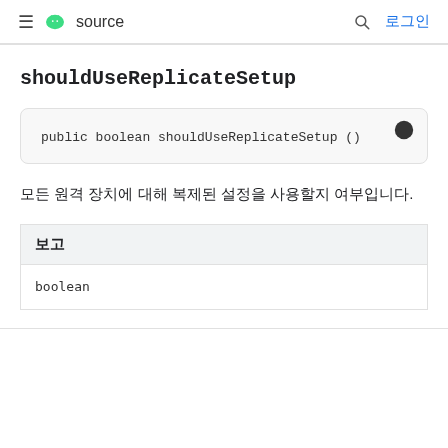≡ android source 🔍 로그인
shouldUseReplicateSetup
public boolean shouldUseReplicateSetup ()
모든 원격 장치에 대해 복제된 설정을 사용할지 여부입니다.
| 보고 |
| --- |
| boolean |